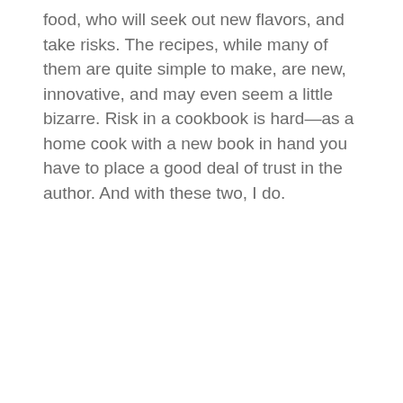food, who will seek out new flavors, and take risks. The recipes, while many of them are quite simple to make, are new, innovative, and may even seem a little bizarre. Risk in a cookbook is hard—as a home cook with a new book in hand you have to place a good deal of trust in the author. And with these two, I do.